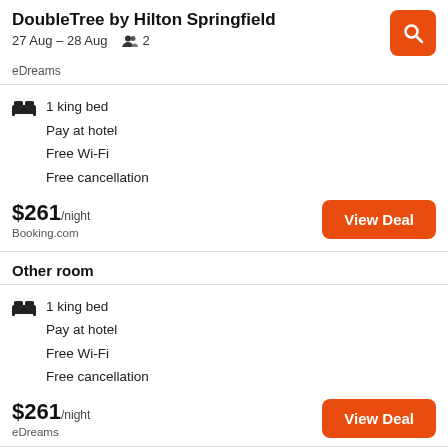DoubleTree by Hilton Springfield
27 Aug – 28 Aug   👥 2
eDreams
1 king bed
Pay at hotel
Free Wi-Fi
Free cancellation
$261/night
Booking.com
View Deal
Other room
1 king bed
Pay at hotel
Free Wi-Fi
Free cancellation
$261/night
eDreams
View Deal